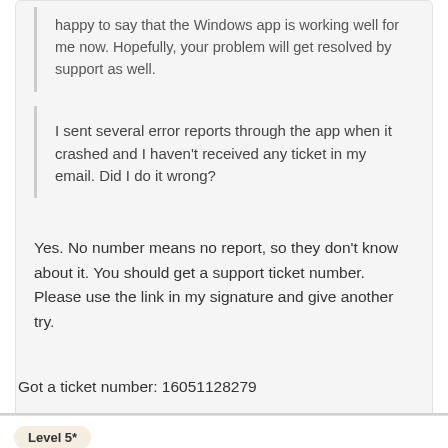happy to say that the Windows app is working well for me now. Hopefully, your problem will get resolved by support as well.
I sent several error reports through the app when it crashed and I haven't received any ticket in my email. Did I do it wrong?
Yes. No number means no report, so they don't know about it. You should get a support ticket number. Please use the link in my signature and give another try.
Got a ticket number: 16051128279
Level 5*
GrumpyMonkey